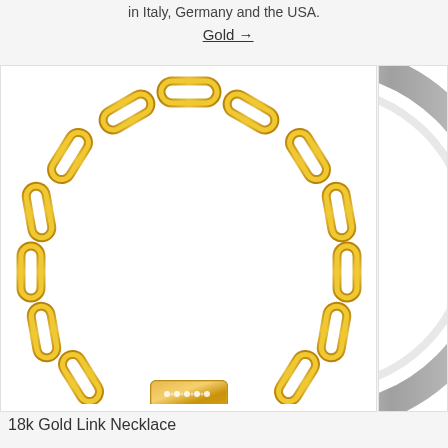in Italy, Germany and the USA.
Gold →
[Figure (photo): 18k gold link chain necklace arranged in an oval shape, displayed on white background. The chain features rectangular paperclip-style links with one diamond-encrusted clasp link at the bottom.]
18k Gold Link Necklace